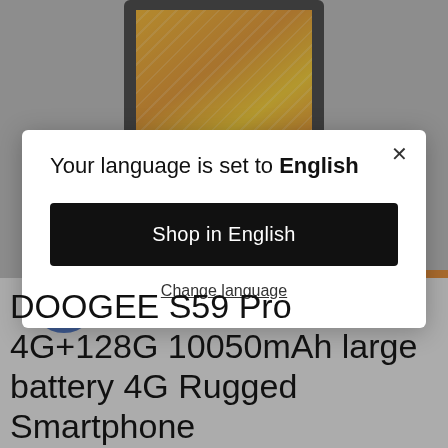[Figure (screenshot): Background showing a rugged smartphone with orange/yellow striped pattern on screen, partially visible behind a modal dialog overlay]
Your language is set to English
Shop in English
Change language
DOOGEE S59 Pro 4G+128G 10050mAh large battery 4G Rugged Smartphone